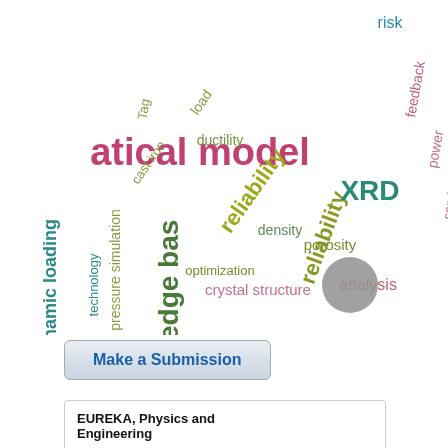[Figure (infographic): Word cloud with engineering/materials science keywords in various colors, sizes, and orientations. Words include: mathematical model (large, dark pink/red), knowledge base (large, vertical, dark green), reliability (large, diagonal, olive/yellow-green), XRD (large, teal), dynamic loading (vertical, teal), risk (medium, teal), feedback (medium, pink), power (medium, pink), service (medium, pink), shaft (vertical, pink), e-com (vertical, pink), Vibration (vertical, olive), analysis (medium, pink), porosity (medium, olive), density (medium, olive/teal), crystal structure (medium, pink), optimization (medium, olive), ductility (medium, olive/green), reliability (large, diagonal), load (diagonal, olive), pressure simulation (vertical, olive), Tag (vertical, olive), cast iron (diagonal, olive), technology (vertical, teal), knowledge base (large, dark)]
[Figure (screenshot): A button labeled 'Make a Submission' with blue text and a gradient gray background]
EUREKA, Physics and Engineering
Q2 Engineering (miscellaneous) best quartile
SIR 2021